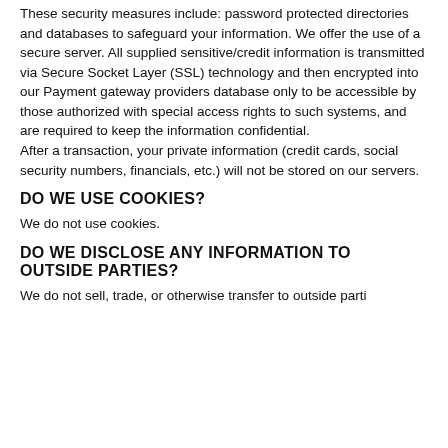These security measures include: password protected directories and databases to safeguard your information. We offer the use of a secure server. All supplied sensitive/credit information is transmitted via Secure Socket Layer (SSL) technology and then encrypted into our Payment gateway providers database only to be accessible by those authorized with special access rights to such systems, and are required to keep the information confidential. After a transaction, your private information (credit cards, social security numbers, financials, etc.) will not be stored on our servers.
DO WE USE COOKIES?
We do not use cookies.
DO WE DISCLOSE ANY INFORMATION TO OUTSIDE PARTIES?
We do not sell, trade, or otherwise transfer to outside parties...